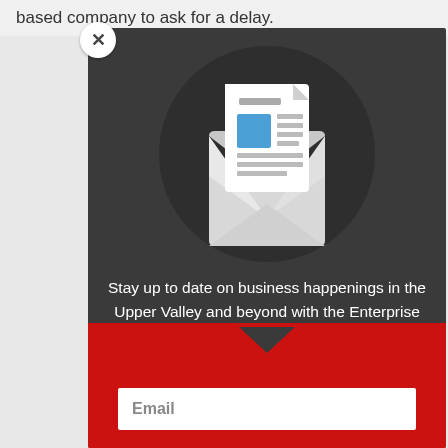based company to ask for a delay.
[Figure (illustration): Newsletter signup modal popup with dark background. Contains an envelope icon with a document/letter inside showing blue rectangle and gray text lines, set within a dark circle. Below is descriptive text and a red bottom section with email input field.]
Stay up to date on business happenings in the Upper Valley and beyond with the Enterprise newsletter. Delivered to your inbox once per week!
Email